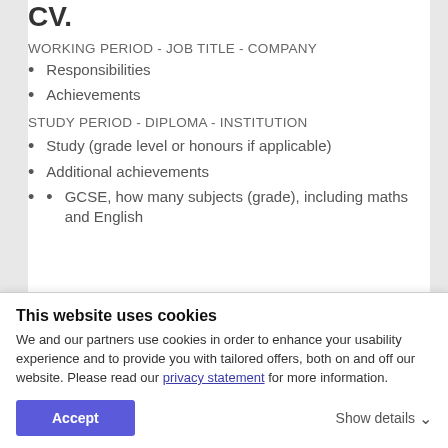CV.
WORKING PERIOD - JOB TITLE - COMPANY
Responsibilities
Achievements
STUDY PERIOD - DIPLOMA - INSTITUTION
Study (grade level or honours if applicable)
Additional achievements
GCSE, how many subjects (grade), including maths and English
This website uses cookies
We and our partners use cookies in order to enhance your usability experience and to provide you with tailored offers, both on and off our website. Please read our privacy statement for more information.
Accept
Show details